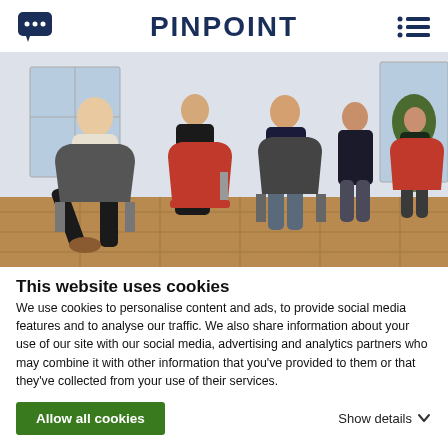PINPOINT
[Figure (photo): Group of five professionals seated in modern chairs in an office with wooden floors and large windows]
This website uses cookies
We use cookies to personalise content and ads, to provide social media features and to analyse our traffic. We also share information about your use of our site with our social media, advertising and analytics partners who may combine it with other information that you've provided to them or that they've collected from your use of their services.
Allow all cookies
Show details